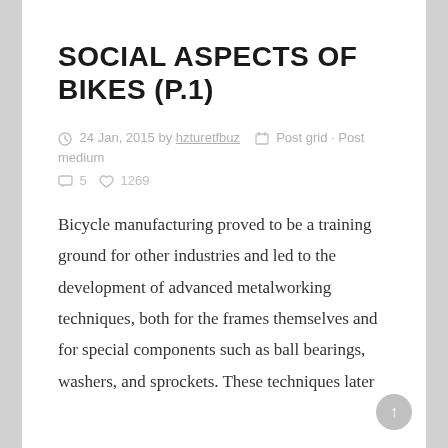SOCIAL ASPECTS OF BIKES (P.1)
24 Jan, 2015 by hzturetfbuz  Post grid · Post medium
5  1269
Bicycle manufacturing proved to be a training ground for other industries and led to the development of advanced metalworking techniques, both for the frames themselves and for special components such as ball bearings, washers, and sprockets. These techniques later